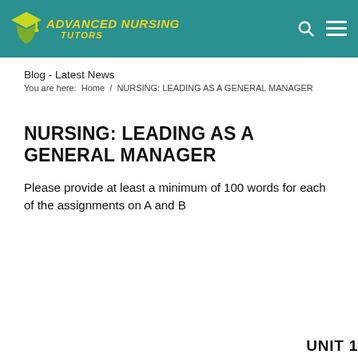[Figure (logo): Advanced Nursing Tutors logo with teal background, graduation cap icon, and yellow italic text]
Blog - Latest News
You are here:  Home  /  NURSING: LEADING AS A GENERAL MANAGER
NURSING: LEADING AS A GENERAL MANAGER
Please provide at least a minimum of 100 words for each of the assignments on A and B
UNIT 1